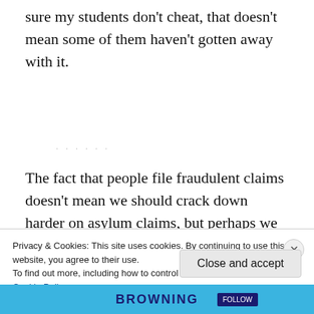sure my students don't cheat, that doesn't mean some of them haven't gotten away with it.
The fact that people file fraudulent claims doesn't mean we should crack down harder on asylum claims, but perhaps we should be
Privacy & Cookies: This site uses cookies. By continuing to use this website, you agree to their use.
To find out more, including how to control cookies, see here:
Cookie Policy